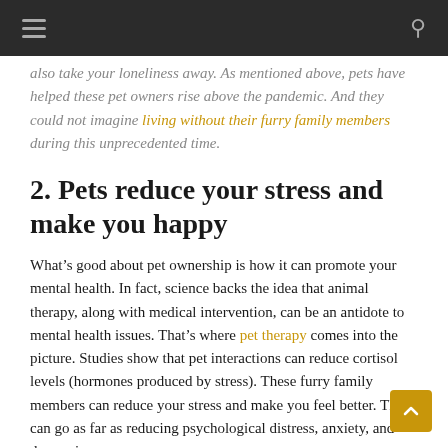Navigation header bar with hamburger menu and search icon
also take your loneliness away. As mentioned above, pets have helped these pet owners rise above the pandemic. And they could not imagine living without their furry family members during this unprecedented time.
2. Pets reduce your stress and make you happy
What’s good about pet ownership is how it can promote your mental health. In fact, science backs the idea that animal therapy, along with medical intervention, can be an antidote to mental health issues. That’s where pet therapy comes into the picture. Studies show that pet interactions can reduce cortisol levels (hormones produced by stress). These furry family members can reduce your stress and make you feel better. They can go as far as reducing psychological distress, anxiety, and depression.